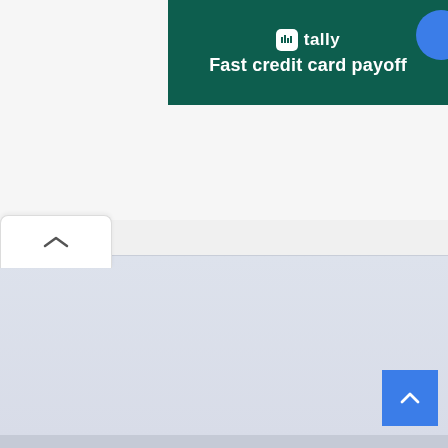[Figure (screenshot): Tally app advertisement banner with dark green background showing Tally logo icon and text 'Fast credit card payoff' with a blue circle button on the right]
[Figure (screenshot): Web page UI showing a collapsed accordion/tab toggle button with an upward caret chevron on the left, a large light blue-grey empty content panel, and a blue scroll-to-top button with upward arrow in the bottom-right corner]